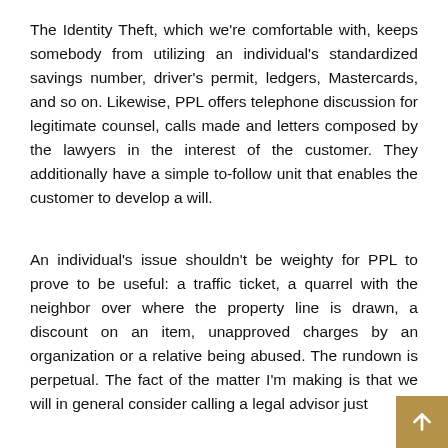The Identity Theft, which we're comfortable with, keeps somebody from utilizing an individual's standardized savings number, driver's permit, ledgers, Mastercards, and so on. Likewise, PPL offers telephone discussion for legitimate counsel, calls made and letters composed by the lawyers in the interest of the customer. They additionally have a simple to-follow unit that enables the customer to develop a will.
An individual's issue shouldn't be weighty for PPL to prove to be useful: a traffic ticket, a quarrel with the neighbor over where the property line is drawn, a discount on an item, unapproved charges by an organization or a relative being abused. The rundown is perpetual. The fact of the matter I'm making is that we will in general consider calling a legal advisor just